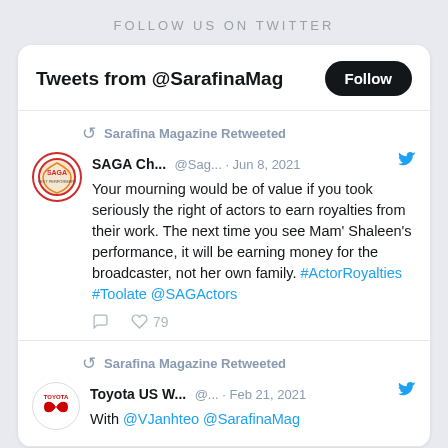FOLLOW US ON TWITTER
Tweets from @SarafinaMag
Sarafina Magazine Retweeted
SAGA Ch... @Sag... · Jun 8, 2021 Your mourning would be of value if you took seriously the right of actors to earn royalties from their work. The next time you see Mam' Shaleen's performance, it will be earning money for the broadcaster, not her own family. #ActorRoyalties #Toolate @SAGActors
79
Sarafina Magazine Retweeted
Toyota US W... @... · Feb 21, 2021 With @VJanhteo @SarafinaMag